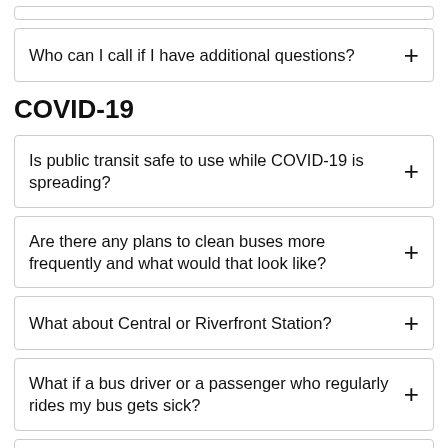Who can I call if I have additional questions?
COVID-19
Is public transit safe to use while COVID-19 is spreading?
Are there any plans to clean buses more frequently and what would that look like?
What about Central or Riverfront Station?
What if a bus driver or a passenger who regularly rides my bus gets sick?
What would it take to stop bus service?